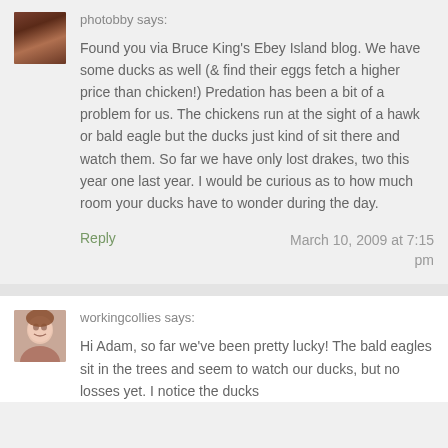photobby says:
Found you via Bruce King's Ebey Island blog. We have some ducks as well (& find their eggs fetch a higher price than chicken!) Predation has been a bit of a problem for us. The chickens run at the sight of a hawk or bald eagle but the ducks just kind of sit there and watch them. So far we have only lost drakes, two this year one last year. I would be curious as to how much room your ducks have to wonder during the day.
Reply
March 10, 2009 at 7:15 pm
workingcollies says:
Hi Adam, so far we've been pretty lucky! The bald eagles sit in the trees and seem to watch our ducks, but no losses yet. I notice the ducks